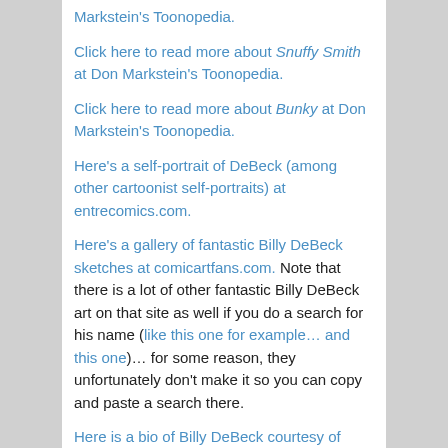Markstein's Toonopedia.
Click here to read more about Snuffy Smith at Don Markstein's Toonopedia.
Click here to read more about Bunky at Don Markstein's Toonopedia.
Here's a self-portrait of DeBeck (among other cartoonist self-portraits) at entrecomics.com.
Here's a gallery of fantastic Billy DeBeck sketches at comicartfans.com. Note that there is a lot of other fantastic Billy DeBeck art on that site as well if you do a search for his name (like this one for example… and this one)… for some reason, they unfortunately don't make it so you can copy and paste a search there.
Here is a bio of Billy DeBeck courtesy of Sekvenskonst
Here is the Wikipedia entry on Billy DeBeck.